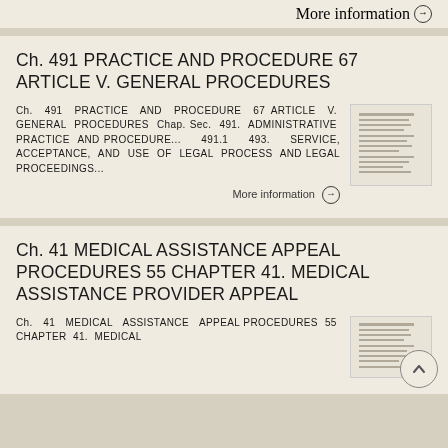More information →
Ch. 491 PRACTICE AND PROCEDURE 67 ARTICLE V. GENERAL PROCEDURES
Ch. 491 PRACTICE AND PROCEDURE 67 ARTICLE V. GENERAL PROCEDURES Chap. Sec. 491. ADMINISTRATIVE PRACTICE AND PROCEDURE... 491.1 493. SERVICE, ACCEPTANCE, AND USE OF LEGAL PROCESS AND LEGAL PROCEEDINGS...
More information →
Ch. 41 MEDICAL ASSISTANCE APPEAL PROCEDURES 55 CHAPTER 41. MEDICAL ASSISTANCE PROVIDER APPEAL
Ch. 41 MEDICAL ASSISTANCE APPEAL PROCEDURES 55 CHAPTER 41. MEDICAL